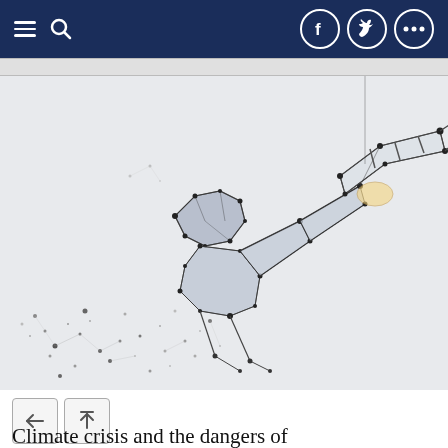Navigation bar with menu, search, Facebook, Twitter, and more icons
[Figure (illustration): Abstract low-poly geometric illustration of a person looking through a telescope, made of connected dots and lines on a light gray background, with scattered dot particles below]
Climate crisis and the dangers of